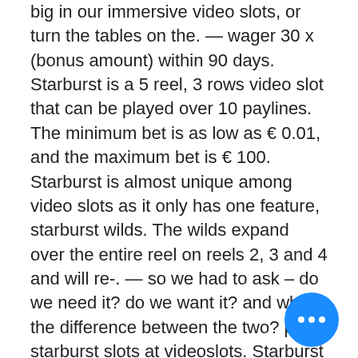big in our immersive video slots, or turn the tables on the. — wager 30 x (bonus amount) within 90 days. Starburst is a 5 reel, 3 rows video slot that can be played over 10 paylines. The minimum bet is as low as € 0.01, and the maximum bet is € 100. Starburst is almost unique among video slots as it only has one feature, starburst wilds. The wilds expand over the entire reel on reels 2, 3 and 4 and will re-. — so we had to ask – do we need it? do we want it? and what's the difference between the two? play starburst slots at videoslots. Starburst still features all the bars and sevens symbols that fans of vintage slots know and love, but launched them into a slick and modern online video slots. Starburst symbols are all different types of colorful space gems, along with a cosmic rebranding of the iconic '7' and 'bar' symbols from classic video slots. To 1 playing starburst for free only at videoslo — being one of the most respected and
[Figure (other): Blue circular chat button with three white dots (ellipsis) indicating more options or live chat.]